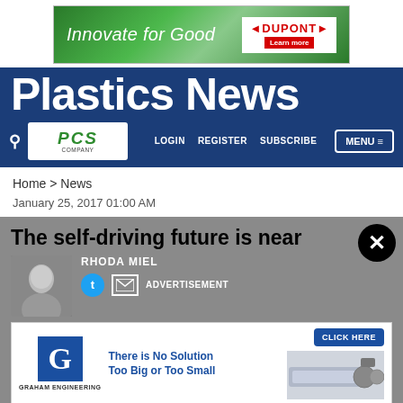[Figure (other): DuPont advertisement banner: 'Innovate for Good' with DuPont logo and Learn more button on green background]
Plastics News
[Figure (logo): PCS Company logo in white box within navy navigation bar]
Home > News
January 25, 2017 01:00 AM
The self-driving future is near
RHODA MIEL
ADVERTISEMENT
[Figure (other): Graham Engineering advertisement: blue G logo, machine image, 'CLICK HERE' button, text 'There is No Solution Too Big or Too Small']